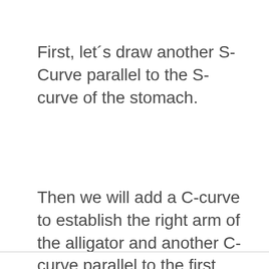First, let´s draw another S-Curve parallel to the S-curve of the stomach.
Then we will add a C-curve to establish the right arm of the alligator and another C-curve parallel to the first one but slightly higher.